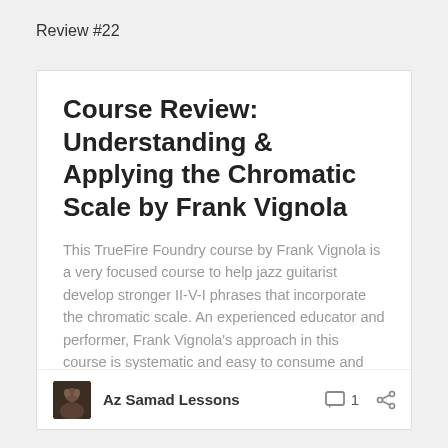Review #22
Course Review: Understanding & Applying the Chromatic Scale by Frank Vignola
This TrueFire Foundry course by Frank Vignola is a very focused course to help jazz guitarist develop stronger II-V-I phrases that incorporate the chromatic scale. An experienced educator and performer, Frank Vignola's approach in this course is systematic and easy to consume and digest. The course includes: 6 Charts (.pdf) 1 Jam Track (.mp3) 1 … Continue reading
Az Samad Lessons